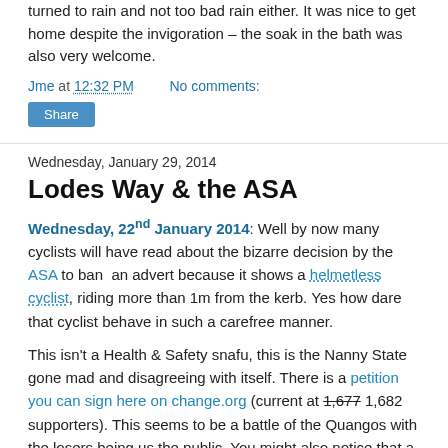turned to rain and not too bad rain either. It was nice to get home despite the invigoration – the soak in the bath was also very welcome.
Jme at 12:32 PM    No comments:
Share
Wednesday, January 29, 2014
Lodes Way & the ASA
Wednesday, 22nd January 2014: Well by now many cyclists will have read about the bizarre decision by the ASA to ban an advert because it shows a helmetless cyclist, riding more than 1m from the kerb. Yes how dare that cyclist behave in such a carefree manner.

This isn't a Health & Safety snafu, this is the Nanny State gone mad and disagreeing with itself. There is a petition you can sign here on change.org (current at 1,677 1,682 supporters). This seems to be a battle of the Quangos with the losers being us the public. You might also notice that a number of the Bloggers I follow have also taken issue with the ASA ruling. Their ruling cites the Highway code for its guidance, so perhaps that is where there needs to be change.